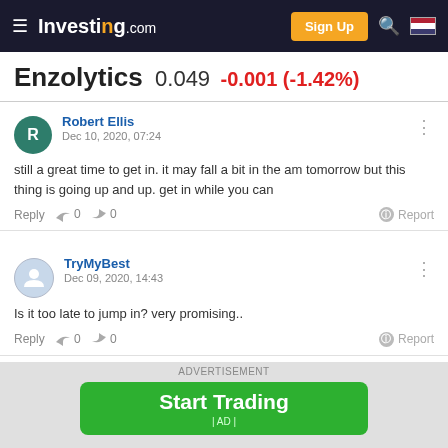Investing.com — Sign Up
Enzolytics 0.049 -0.001 (-1.42%)
Robert Ellis
Dec 10, 2020, 07:24
still a great time to get in. it may fall a bit in the am tomorrow but this thing is going up and up. get in while you can
TryMyBest
Dec 09, 2020, 14:43
Is it too late to jump in? very promising..
ADVERTISEMENT
Start Trading
| AD |